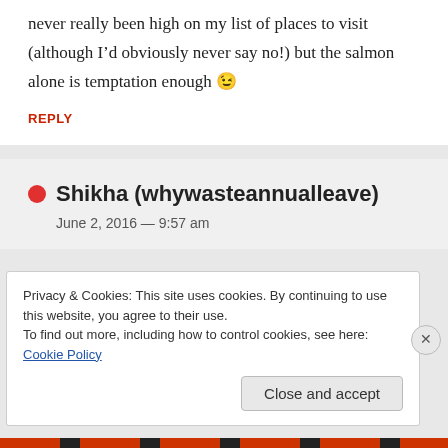never really been high on my list of places to visit (although I’d obviously never say no!) but the salmon alone is temptation enough 😉
REPLY
Shikha (whywasteannualleave)
June 2, 2016 — 9:57 am
Privacy & Cookies: This site uses cookies. By continuing to use this website, you agree to their use.
To find out more, including how to control cookies, see here: Cookie Policy
Close and accept